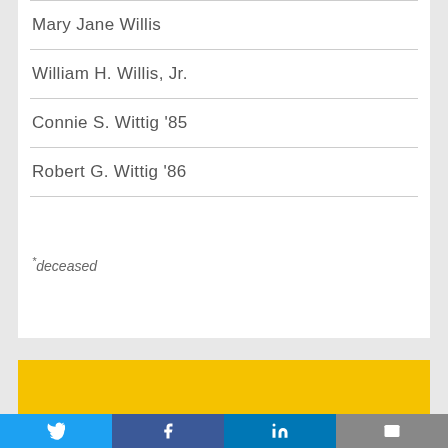Mary Jane Willis
William H. Willis, Jr.
Connie S. Wittig ’85
Robert G. Wittig ’86
*deceased